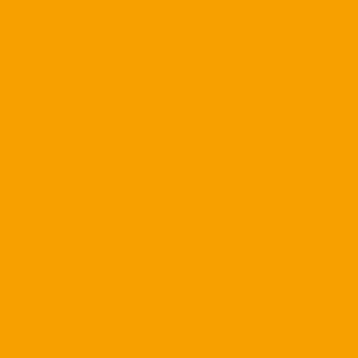Miami Football program sho... quarterback."
But Williams will be back the... passes for 160 yds going 8-4... somewhere else.
Posted by: solarcane | December 1
[Figure (illustration): Orange avatar with geometric network pattern]
Quarterbacks in transfer por...
https://247sports.com/Seaso...
Posted by: solarcane | December 1
[Figure (illustration): Grey/blue avatar with concentric circular pattern and dot in center]
Maybe we should try to sign a...
Posted by: JCane | December 11, 2...
[Figure (illustration): Orange avatar with geometric network pattern]
This is awesome
https://youtu.be/R-2puqqmyc...
Posted by: ...